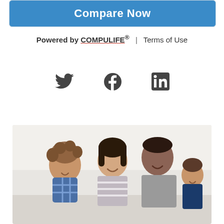[Figure (other): Blue 'Compare Now' button with rounded rectangle styling]
Powered by COMPULIFE® | Terms of Use
[Figure (other): Social media icons: Twitter bird, Facebook circle f, LinkedIn square in logo]
[Figure (photo): A smiling family of four — a woman, a man, and two young children — sitting together and laughing, in a bright indoor setting]